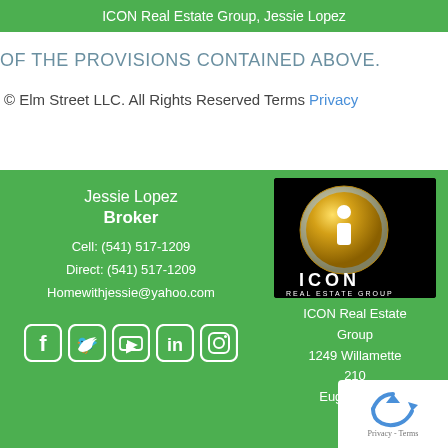ICON Real Estate Group, Jessie Lopez
OF THE PROVISIONS CONTAINED ABOVE.
© Elm Street LLC. All Rights Reserved Terms Privacy
Jessie Lopez
Broker
Cell: (541) 517-1209
Direct: (541) 517-1209
Homewithjessie@yahoo.com
[Figure (logo): ICON Real Estate Group logo with golden 'i' icon on black background]
ICON Real Estate Group
1249 Willamette 210
Eugene, OR